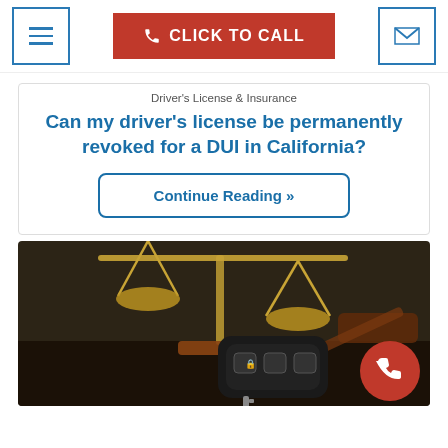CLICK TO CALL
Driver's License & Insurance
Can my driver's license be permanently revoked for a DUI in California?
Continue Reading »
[Figure (photo): Photo of a car key fob on a desk beside a judge's gavel and golden scales of justice, with a red phone circle button in the bottom right corner.]